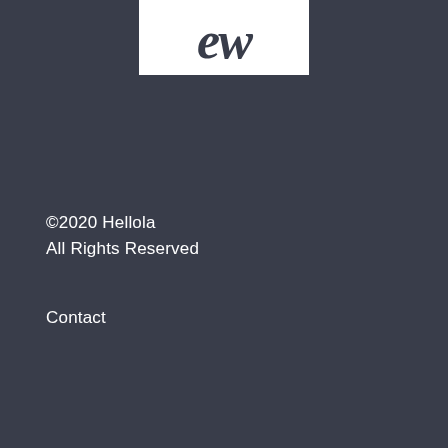[Figure (logo): Hellola logo: white rounded square with dark handwriting/cursive text inside, partially cropped at top of page]
©2020 Hellola
All Rights Reserved
Contact